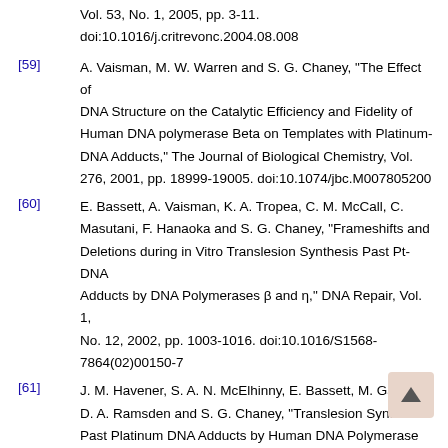Vol. 53, No. 1, 2005, pp. 3-11. doi:10.1016/j.critrevonc.2004.08.008
[59] A. Vaisman, M. W. Warren and S. G. Chaney, "The Effect of DNA Structure on the Catalytic Efficiency and Fidelity of Human DNA polymerase Beta on Templates with Platinum-DNA Adducts," The Journal of Biological Chemistry, Vol. 276, 2001, pp. 18999-19005. doi:10.1074/jbc.M007805200
[60] E. Bassett, A. Vaisman, K. A. Tropea, C. M. McCall, C. Masutani, F. Hanaoka and S. G. Chaney, "Frameshifts and Deletions during in Vitro Translesion Synthesis Past Pt-DNA Adducts by DNA Polymerases β and η," DNA Repair, Vol. 1, No. 12, 2002, pp. 1003-1016. doi:10.1016/S1568-7864(02)00150-7
[61] J. M. Havener, S. A. N. McElhinny, E. Bassett, M. Gauger, D. A. Ramsden and S. G. Chaney, "Translesion Synthesis Past Platinum DNA Adducts by Human DNA Polymerase μ,"